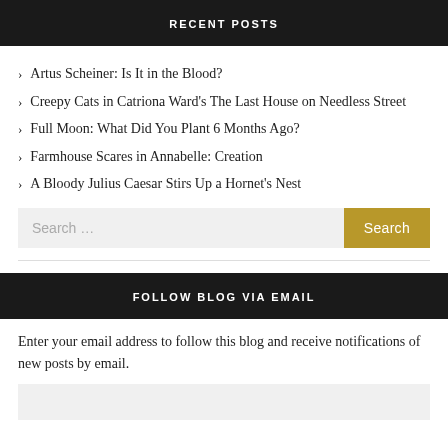RECENT POSTS
Artus Scheiner: Is It in the Blood?
Creepy Cats in Catriona Ward's The Last House on Needless Street
Full Moon: What Did You Plant 6 Months Ago?
Farmhouse Scares in Annabelle: Creation
A Bloody Julius Caesar Stirs Up a Hornet's Nest
Search ...
FOLLOW BLOG VIA EMAIL
Enter your email address to follow this blog and receive notifications of new posts by email.